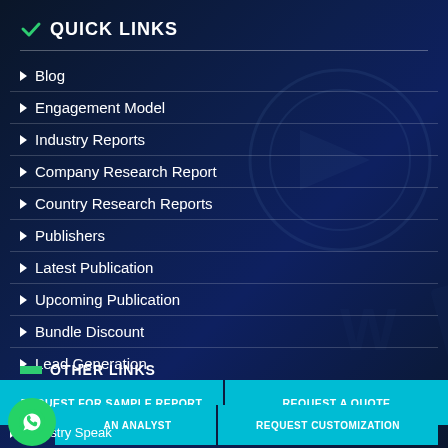QUICK LINKS
Blog
Engagement Model
Industry Reports
Company Research Report
Country Research Reports
Publishers
Latest Publication
Upcoming Publication
Bundle Discount
Lead Generation
OTHER LINKS
REQUEST FOR SAMPLE REPORT
REQUEST A QUOTE
AN ANALYST
REQUEST CUSTOMIZATION
Industry Speak